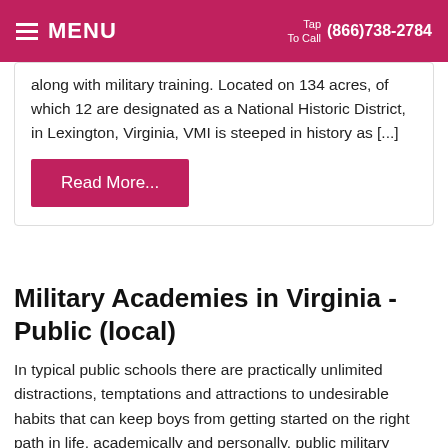MENU  Tap To Call (866)738-2784
along with military training. Located on 134 acres, of which 12 are designated as a National Historic District, in Lexington, Virginia, VMI is steeped in history as [...]
Read More...
Military Academies in Virginia - Public (local)
In typical public schools there are practically unlimited distractions, temptations and attractions to undesirable habits that can keep boys from getting started on the right path in life, academically and personally. public military schools for boys give students structure, discipline and an atmosphere that allows them to excel and meet their goals in a nurturing and effective environment.
Students learn through the enforcement of strict routines